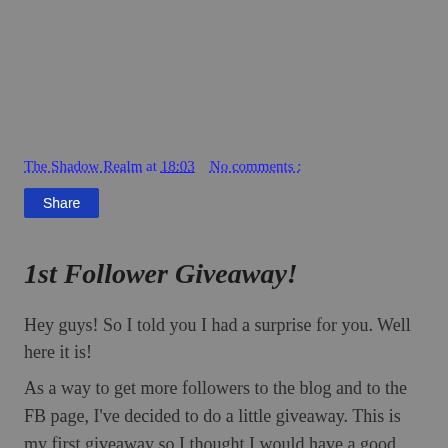The Shadow Realm at 18:03   No comments :
Share
1st Follower Giveaway!
Hey guys! So I told you I had a surprise for you. Well here it is!
As a way to get more followers to the blog and to the FB page, I've decided to do a little giveaway. This is my first giveaway so I thought I would have a good prize as a thank you to all of you for following. Unfortunately, due to money restraints, the giveaway is